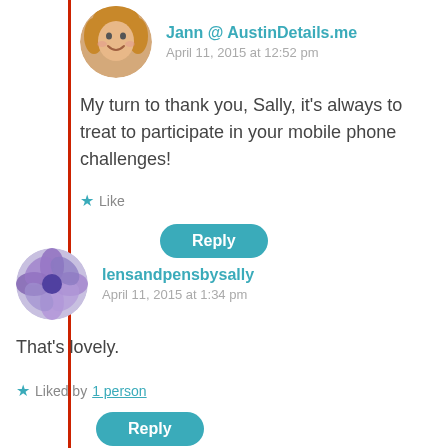[Figure (photo): Circular avatar of a woman with blonde hair, smiling]
Jann @ AustinDetails.me
April 11, 2015 at 12:52 pm
My turn to thank you, Sally, it's always to treat to participate in your mobile phone challenges!
Like
Reply
[Figure (photo): Circular avatar showing a purple flower]
lensandpensbysally
April 11, 2015 at 1:34 pm
That's lovely.
Liked by 1 person
Reply